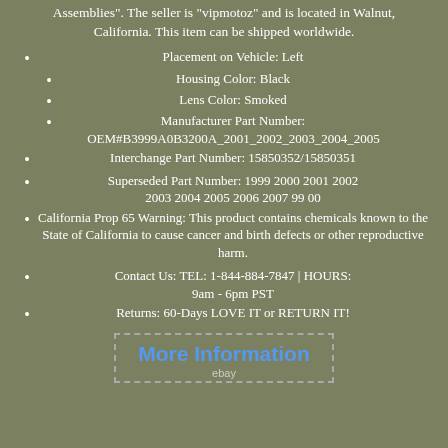Assemblies". The seller is "vipmotoz" and is located in Walnut, California. This item can be shipped worldwide.
Placement on Vehicle: Left
Housing Color: Black
Lens Color: Smoked
Manufacturer Part Number: OEM#B3999A0B3200A_2001_2002_2003_2004_200...
Interchange Part Number: 15850352/15850351
Superseded Part Number: 1999 2000 2001 2002 2003 2004 2005 2006 2007 99 00
California Prop 65 Warning: This product contains chemicals known to the State of California to cause cancer and birth defects or other reproductive harm.
Contact Us: TEL: 1-844-884-7847 | HOURS: 9am - 6pm PST
Returns: 60-Days LOVE IT or RETURN IT!
[Figure (other): More Information button with eBay logo, dashed border box]